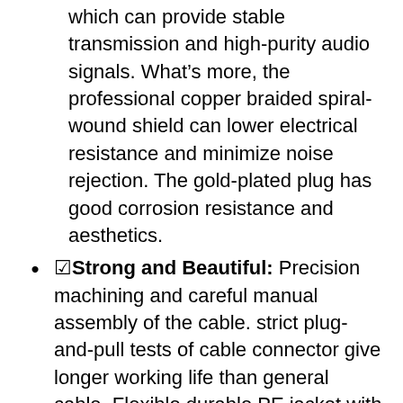which can provide stable transmission and high-purity audio signals. What’s more, the professional copper braided spiral-wound shield can lower electrical resistance and minimize noise rejection. The gold-plated plug has good corrosion resistance and aesthetics.
☑Strong and Beautiful: Precision machining and careful manual assembly of the cable. strict plug-and-pull tests of cable connector give longer working life than general cable. Flexible durable PE jacket with remarkable tenacity and elasticity; tin-plated oxygen-free copper wiring for high fidelity, pure sound quality.
☑Plug and Play: Simple USB